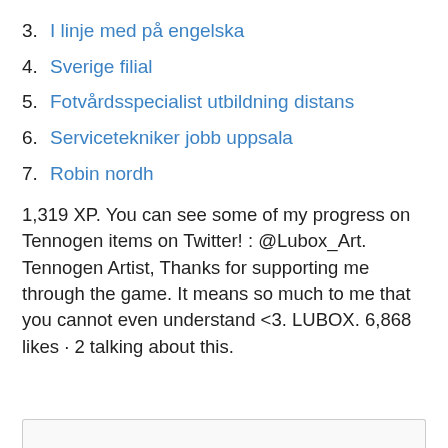3. I linje med på engelska
4. Sverige filial
5. Fotvårdsspecialist utbildning distans
6. Servicetekniker jobb uppsala
7. Robin nordh
1,319 XP. You can see some of my progress on Tennogen items on Twitter! : @Lubox_Art. Tennogen Artist, Thanks for supporting me through the game. It means so much to me that you cannot even understand <3. LUBOX. 6,868 likes · 2 talking about this.